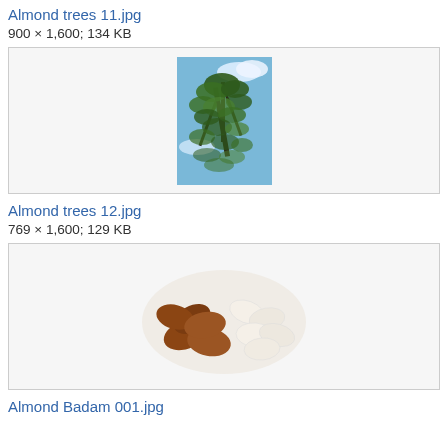Almond trees 11.jpg
900 × 1,600; 134 KB
[Figure (photo): Photo of almond tree branches with green leaves against a blue sky, portrait orientation, centered in a light gray box]
Almond trees 12.jpg
769 × 1,600; 129 KB
[Figure (photo): Photo of almonds on a white background — several brown unpeeled almonds and several white blanched almonds arranged in a group]
Almond Badam 001.jpg